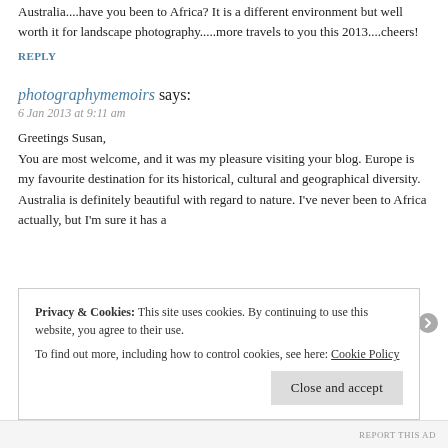Australia....have you been to Africa? It is a different environment but well worth it for landscape photography.....more travels to you this 2013....cheers!
REPLY
photographymemoirs says:
6 Jan 2013 at 9:11 am
Greetings Susan,
You are most welcome, and it was my pleasure visiting your blog. Europe is my favourite destination for its historical, cultural and geographical diversity. Australia is definitely beautiful with regard to nature. I've never been to Africa actually, but I'm sure it has a
Privacy & Cookies: This site uses cookies. By continuing to use this website, you agree to their use.
To find out more, including how to control cookies, see here: Cookie Policy
Close and accept